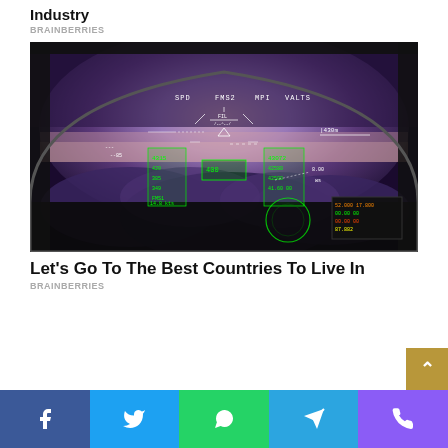Industry
BRAINBERRIES
[Figure (photo): Cockpit view from aircraft with HUD (heads-up display) overlay showing flight data including SPD, FMS2, MPI, VALTS indicators, and green glowing instruments against a purple/pink sky at dusk with clouds below]
Let's Go To The Best Countries To Live In
BRAINBERRIES
Facebook Twitter WhatsApp Telegram Phone social share buttons